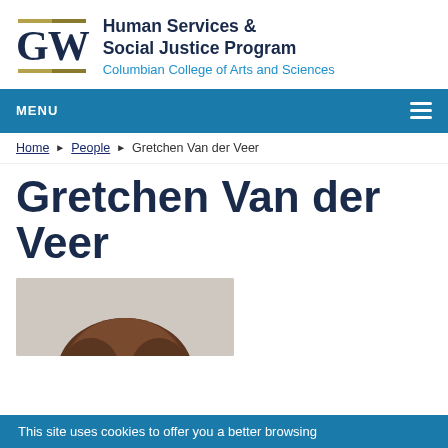GW Human Services & Social Justice Program Columbian College of Arts and Sciences
MENU
Home ▶ People ▶ Gretchen Van der Veer
Gretchen Van der Veer
[Figure (photo): Photo of Gretchen Van der Veer — top of head with brown hair visible]
This site uses cookies to offer you a better browsing